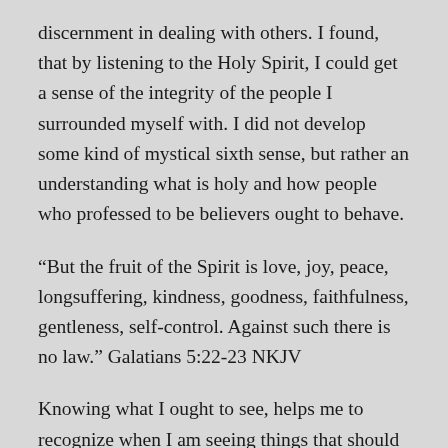discernment in dealing with others. I found, that by listening to the Holy Spirit, I could get a sense of the integrity of the people I surrounded myself with. I did not develop some kind of mystical sixth sense, but rather an understanding what is holy and how people who professed to be believers ought to behave.
“But the fruit of the Spirit is love, joy, peace, longsuffering, kindness, goodness, faithfulness, gentleness, self-control. Against such there is no law.” Galatians 5:22-23 NKJV
Knowing what I ought to see, helps me to recognize when I am seeing things that should not be.
“Now the works of the flesh are evident, which are: adultery, fornication, uncleanness, lewdness,